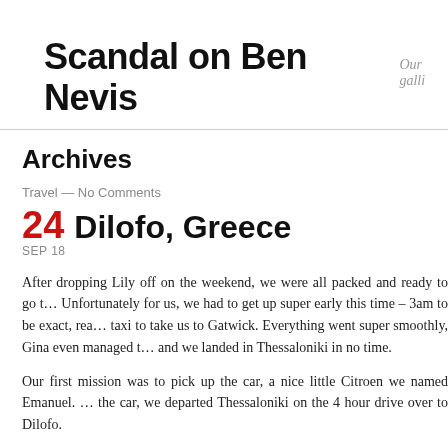Scandal on Ben Nevis
Our galli…
Archives
Travel — No Comments
24 Dilofo, Greece
SEP 18
After dropping Lily off on the weekend, we were all packed and ready to go t… Unfortunately for us, we had to get up super early this time – 3am to be exact, rea… taxi to take us to Gatwick. Everything went super smoothly, Gina even managed t… and we landed in Thessaloniki in no time.
Our first mission was to pick up the car, a nice little Citroen we named Emanuel. … the car, we departed Thessaloniki on the 4 hour drive over to Dilofo.
The drive took us right through the middle of the country, where we were greeted… Greek highways were super nice to drive on. We noticed loads of high fences on…